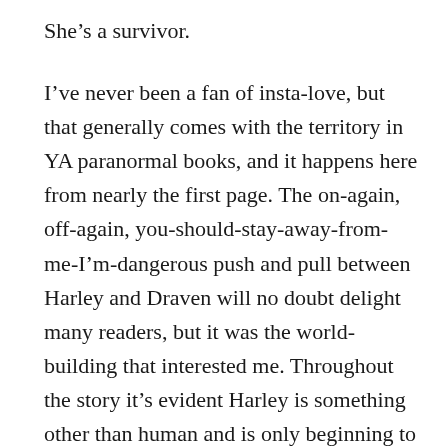She’s a survivor.
I’ve never been a fan of insta-love, but that generally comes with the territory in YA paranormal books, and it happens here from nearly the first page. The on-again, off-again, you-should-stay-away-from-me-I’m-dangerous push and pull between Harley and Draven will no doubt delight many readers, but it was the world-building that interested me. Throughout the story it’s evident Harley is something other than human and is only beginning to come into her powers. I liked watching her learn about the fantasy world she’s suddenly a part of – she can roll with the punches both figuratively and literally because there are also several exciting fight scenes that are done